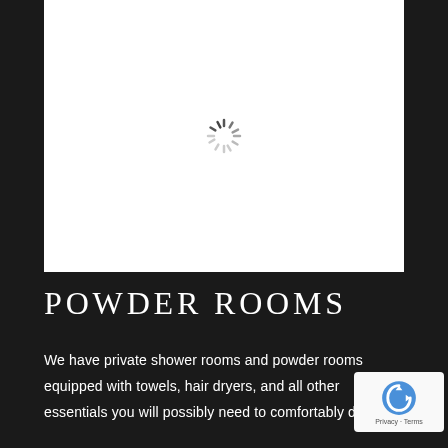[Figure (other): White image placeholder with a loading spinner (circular dashed spinner) in the center, on a dark background]
POWDER ROOMS
We have private shower rooms and powder rooms equipped with towels, hair dryers, and all other essentials you will possibly need to comfortably dre…